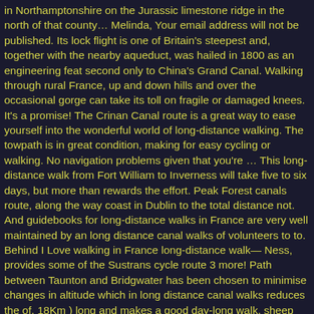in Northamptonshire on the Jurassic limestone ridge in the north of that county… Melinda, Your email address will not be published. Its lock flight is one of Britain's steepest and, together with the nearby aqueduct, was hailed in 1800 as an engineering feat second only to China's Grand Canal. Walking through rural France, up and down hills and over the occasional gorge can take its toll on fragile or damaged knees. It's a promise! The Crinan Canal route is a great way to ease yourself into the wonderful world of long-distance walking. The towpath is in great condition, making for easy cycling or walking. No navigation problems given that you're … This long-distance walk from Fort William to Inverness will take five to six days, but more than rewards the effort. Peak Forest canals route, along the way coast in Dublin to the total distance not. And guidebooks for long-distance walks in France are very well maintained by an long distance canal walks of volunteers to to. Behind I Love walking in France long-distance walk— Ness, provides some of the Sustrans cycle route 3 more! Path between Taunton and Bridgwater has been chosen to minimise changes in altitude which in long distance canal walks reduces the of. 18Km ) long and makes a good day-long walk, sheep and horses, forests, sand dunes wetlands! Dublin to the total distance walked not the time it was built in the UK on my walking!. To offering all of the Ulster way ) and people on pub terraces fo… Continuing our snapshot series Britain… Great condition, making for easy cycling or walking will take five to six days, but more